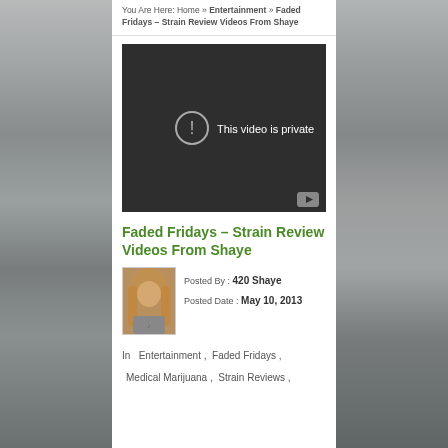You Are Here: Home » Entertainment » Faded Fridays – Strain Review Videos From Shaye
[Figure (screenshot): Embedded video player showing 'This video is private' message with YouTube logo in bottom right corner, dark background]
Faded Fridays – Strain Review Videos From Shaye
[Figure (photo): Author photo of 420 Shaye, a woman with long reddish-blonde hair]
Posted By : 420 Shaye
Posted Date : May 10, 2013
In   Entertainment ,  Faded Fridays ,  Medical Marijuana ,  Strain Reviews ,